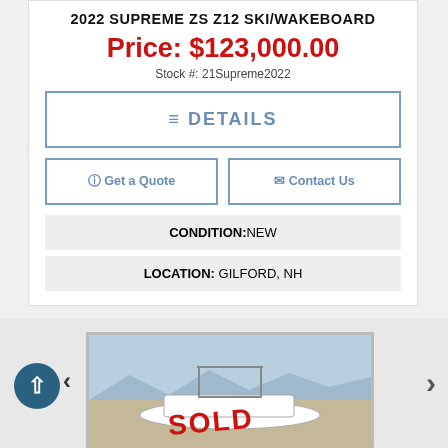2022 SUPREME ZS Z12 SKI/WAKEBOARD
Price: $123,000.00
Stock #: 21Supreme2022
≡ DETAILS
Get a Quote
Contact Us
CONDITION: NEW
LOCATION: GILFORD, NH
[Figure (photo): Photo of a white ski/wakeboard boat on water with a tower, showing a SOLD stamp overlay in red text]